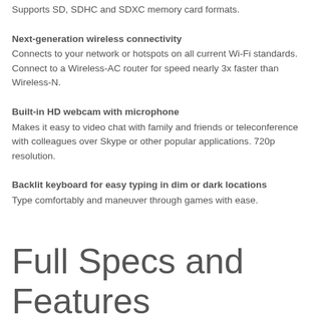Supports SD, SDHC and SDXC memory card formats.
Next-generation wireless connectivity
Connects to your network or hotspots on all current Wi-Fi standards. Connect to a Wireless-AC router for speed nearly 3x faster than Wireless-N.
Built-in HD webcam with microphone
Makes it easy to video chat with family and friends or teleconference with colleagues over Skype or other popular applications. 720p resolution.
Backlit keyboard for easy typing in dim or dark locations
Type comfortably and maneuver through games with ease.
Full Specs and Features